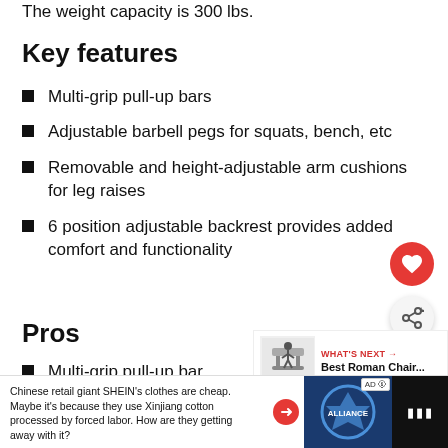The weight capacity is 300 lbs.
Key features
Multi-grip pull-up bars
Adjustable barbell pegs for squats, bench, etc
Removable and height-adjustable arm cushions for leg raises
6 position adjustable backrest provides added comfort and functionality
Pros
Multi-grip pull-up bar
D
[Figure (infographic): Floating UI buttons: red heart button and share button]
[Figure (infographic): WHAT'S NEXT panel with image of Roman Chair and text: Best Roman Chair...]
[Figure (infographic): Advertisement bar: Chinese retail giant SHEIN's clothes are cheap. Maybe it's because they use Xinjiang cotton processed by forced labor. How are they getting away with it?]